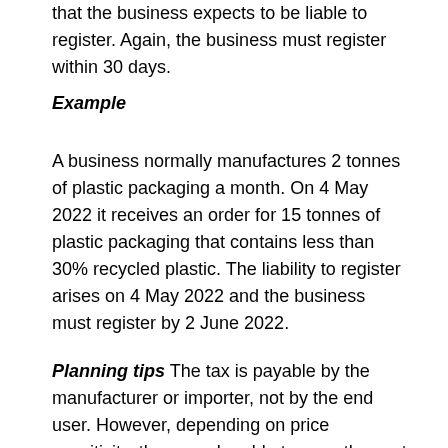requirement to register arises from the date that the business expects to be liable to register. Again, the business must register within 30 days.
Example
A business normally manufactures 2 tonnes of plastic packaging a month. On 4 May 2022 it receives an order for 15 tonnes of plastic packaging that contains less than 30% recycled plastic. The liability to register arises on 4 May 2022 and the business must register by 2 June 2022.
Planning tips The tax is payable by the manufacturer or importer, not by the end user. However, depending on price sensitivity, they may be able to pass the cost on. As the tax only